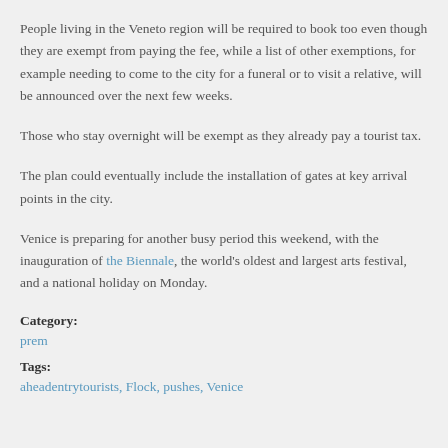People living in the Veneto region will be required to book too even though they are exempt from paying the fee, while a list of other exemptions, for example needing to come to the city for a funeral or to visit a relative, will be announced over the next few weeks.
Those who stay overnight will be exempt as they already pay a tourist tax.
The plan could eventually include the installation of gates at key arrival points in the city.
Venice is preparing for another busy period this weekend, with the inauguration of the Biennale, the world's oldest and largest arts festival, and a national holiday on Monday.
Category:
prem
Tags:
aheadentrytourists, Flock, pushes, Venice